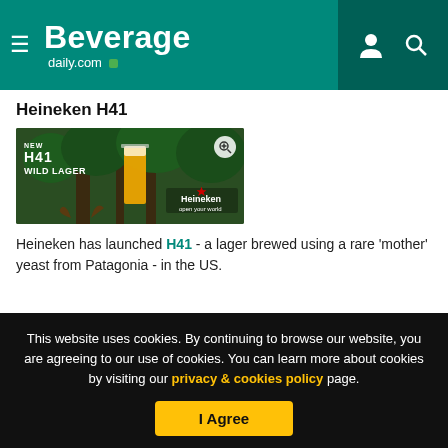Beverage daily.com
Heineken H41
[Figure (photo): Heineken H41 Wild Lager advertisement showing a pint of golden beer in a forest setting with the Heineken logo and text 'NEW H41 WILD LAGER open your world']
Heineken has launched H41 - a lager brewed using a rare 'mother' yeast from Patagonia - in the US.
This website uses cookies. By continuing to browse our website, you are agreeing to our use of cookies. You can learn more about cookies by visiting our privacy & cookies policy page.
I Agree